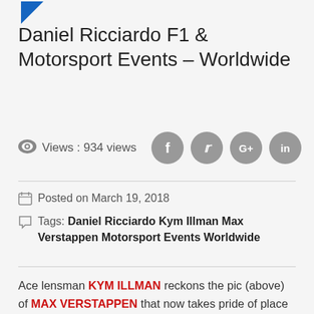[Figure (logo): Blue triangle/arrow logo in top left corner]
Daniel Ricciardo F1 & Motorsport Events – Worldwide
Views : 934 views
[Figure (infographic): Social media share icons: Facebook, Twitter, Google+, LinkedIn — grey circles with white letters]
Posted on March 19, 2018
Tags: Daniel Ricciardo Kym Illman Max Verstappen Motorsport Events Worldwide
Ace lensman KYM ILLMAN reckons the pic (above) of MAX VERSTAPPEN that now takes pride of place in the brilliant young Dutchman's Monaco apartment is Kym 's favourite from 2017.   I reckon he's not far off the mark.   I saw hundreds of  Kym's clever images during that season  –  each one, in my eyes,  an exquisite work of art.   I just hope